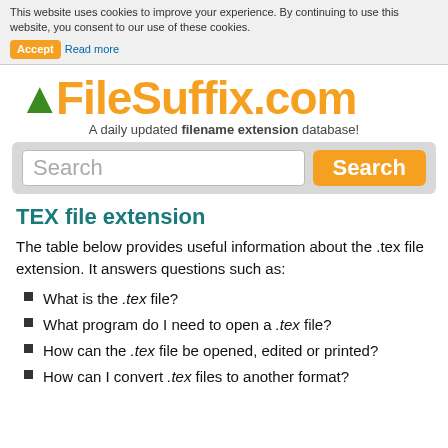This website uses cookies to improve your experience. By continuing to use this website, you consent to our use of these cookies. Accept  Read more
[Figure (logo): FileSuffix.com logo in orange bold text with a green leaf icon]
A daily updated filename extension database!
TEX file extension
The table below provides useful information about the .tex file extension. It answers questions such as:
What is the .tex file?
What program do I need to open a .tex file?
How can the .tex file be opened, edited or printed?
How can I convert .tex files to another format?